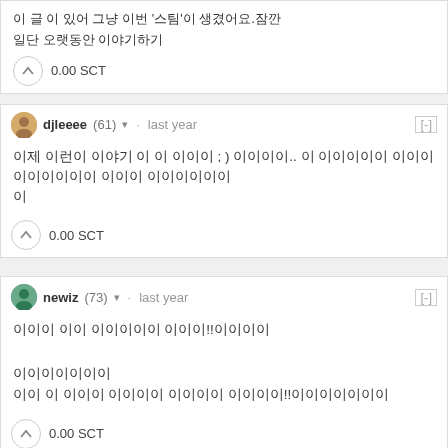이 글 이 있어 그냥 이번 '스팀'이 생겼어요.잠깐 일단 오랫동안 이야기하기
0.00 SCT
djleeee (61) · last year
이제 이런이 이야기 이 이 이이이 ; ) 이이이이.. 이 이이이이이 이이이이이이이이이 이이이 이이이이이이 이
0.00 SCT
newiz (73) · last year
이이이 이이 이이이이이 이이이!!이이이이
이이이이이이이
이이 이 이이이 이이이이 이이이이 이이이이!!이이이이이이이
0.00 SCT
djleeee (61) · last year
이이이이~~~ 이이이~~~~~~이이 이이이이이이 이이이이 이이 이이이 이이 이이이.. 이_이 이이이이이이이 이!!!!!